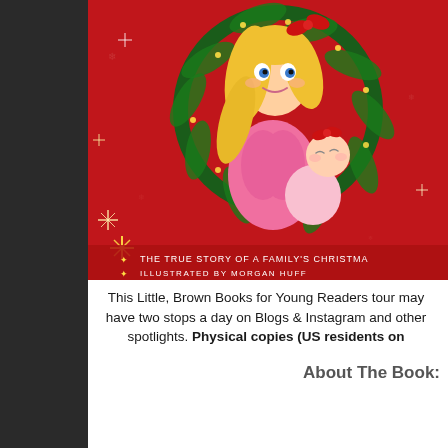[Figure (illustration): Book cover illustration showing a blonde girl in pink dress holding a baby with a red bow, both framed by a Christmas wreath against a red starry background. Text at bottom reads 'THE TRUE STORY OF A FAMILY'S CHRISTMA...' and 'ILLUSTRATED BY MORGAN HUFF']
This Little, Brown Books for Young Readers tour may have two stops a day on Blogs & Instagram and other spotlights. Physical copies (US residents on...
About The Book: